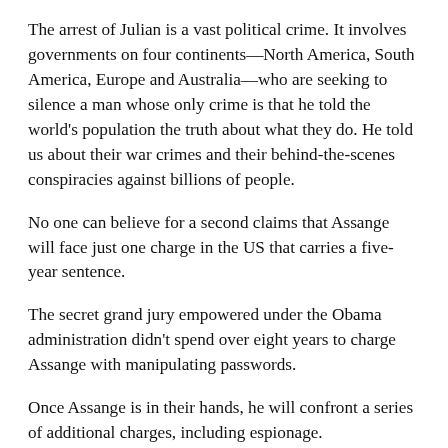The arrest of Julian is a vast political crime. It involves governments on four continents—North America, South America, Europe and Australia—who are seeking to silence a man whose only crime is that he told the world's population the truth about what they do. He told us about their war crimes and their behind-the-scenes conspiracies against billions of people.
No one can believe for a second claims that Assange will face just one charge in the US that carries a five-year sentence.
The secret grand jury empowered under the Obama administration didn't spend over eight years to charge Assange with manipulating passwords.
Once Assange is in their hands, he will confront a series of additional charges, including espionage.